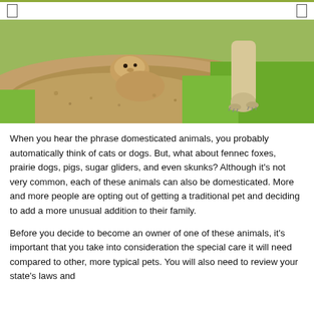[Figure (photo): Photo of prairie dogs (or similar burrowing animals) digging in sandy dirt surrounded by green grass]
When you hear the phrase domesticated animals, you probably automatically think of cats or dogs. But, what about fennec foxes, prairie dogs, pigs, sugar gliders, and even skunks? Although it's not very common, each of these animals can also be domesticated. More and more people are opting out of getting a traditional pet and deciding to add a more unusual addition to their family.
Before you decide to become an owner of one of these animals, it's important that you take into consideration the special care it will need compared to other, more typical pets. You will also need to review your state's laws and